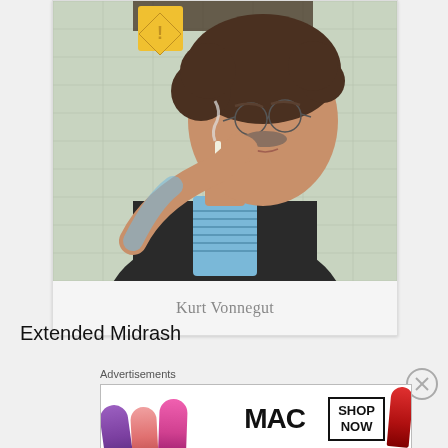[Figure (photo): Elderly man with curly hair and glasses smoking a cigarette, seated in front of a tiled wall. He wears a dark blazer and striped blue shirt.]
Kurt Vonnegut
Extended Midrash
[Figure (screenshot): Advertisement banner for MAC cosmetics showing lipsticks in purple, pink, and red, with MAC logo and SHOP NOW button.]